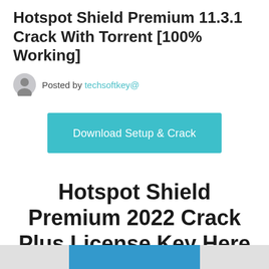Hotspot Shield Premium 11.3.1 Crack With Torrent [100% Working]
Posted by techsoftkey@
[Figure (other): Teal/cyan 'Download Setup & Crack' button]
Hotspot Shield Premium 2022 Crack Plus License Key Here
[Figure (other): Partial image strip at bottom of page with light gray left section, blue center section, and light gray right section]